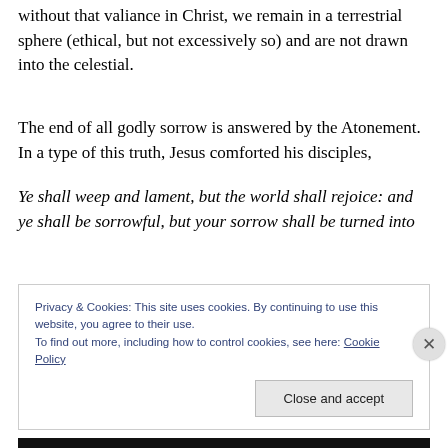without that valiance in Christ, we remain in a terrestrial sphere (ethical, but not excessively so) and are not drawn into the celestial.
The end of all godly sorrow is answered by the Atonement. In a type of this truth, Jesus comforted his disciples,
Ye shall weep and lament, but the world shall rejoice: and ye shall be sorrowful, but your sorrow shall be turned into
Privacy & Cookies: This site uses cookies. By continuing to use this website, you agree to their use.
To find out more, including how to control cookies, see here: Cookie Policy
Close and accept